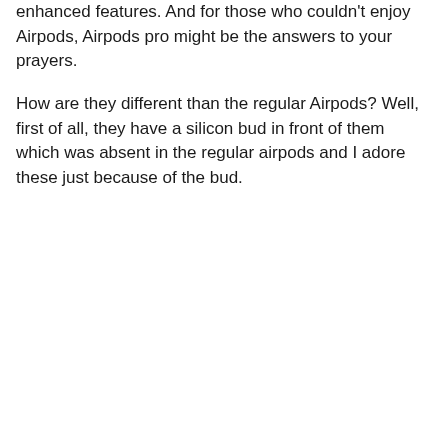enhanced features. And for those who couldn't enjoy Airpods, Airpods pro might be the answers to your prayers.
How are they different than the regular Airpods? Well, first of all, they have a silicon bud in front of them which was absent in the regular airpods and I adore these just because of the bud.